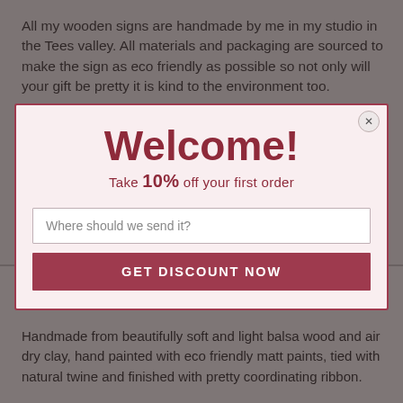All my wooden signs are handmade by me in my studio in the Tees valley. All materials and packaging are sourced to make the sign as eco friendly as possible so not only will your gift be pretty it is kind to the environment too.
You can make this sign truly unique and personal by spelling out a name or special message...
The maximum number of letters is 9. Please provide name in checkout.
If you have something else in your way of mind, please get in touch as there are many other ribbon combinations that can be created.
Made from:
[Figure (screenshot): Modal popup with 'Welcome!' heading, '10% off your first order' subtitle, email input field 'Where should we send it?', and 'GET DISCOUNT NOW' button on a pink/rose background with dark red border.]
Handmade from beautifully soft and light balsa wood and air dry clay, hand painted with eco friendly matt paints, tied with natural twine and finished with pretty coordinating ribbon.